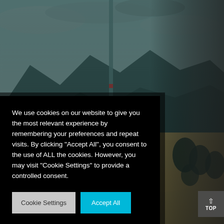[Figure (photo): Aerial or elevated view of a landscape with mountains in the background, a tall wind turbine or pole structure in the center, dry grassy fields in the foreground, and overcast sky. Dark/moody color grading with teal tones.]
We use cookies on our website to give you the most relevant experience by remembering your preferences and repeat visits. By clicking "Accept All", you consent to the use of ALL the cookies. However, you may visit "Cookie Settings" to provide a controlled consent.
Cookie Settings
Accept All
TOP